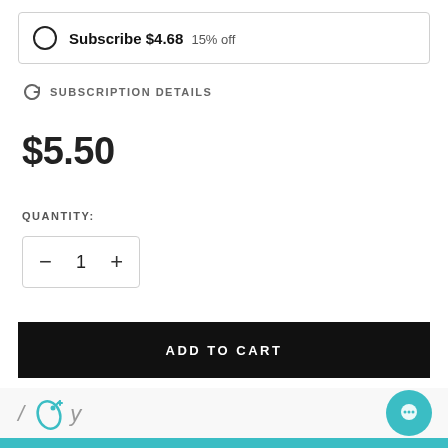Subscribe $4.68 15% off
SUBSCRIPTION DETAILS
$5.50
QUANTITY:
− 1 +
ADD TO CART
[Figure (logo): Partial logo with italic slash, teal bottle icon, and italic y character]
[Figure (illustration): Teal circular chat bubble icon in bottom right corner]